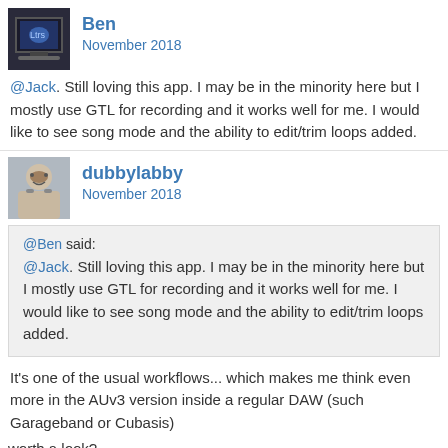[Figure (photo): Avatar image for user Ben showing a TV/monitor screen with a graphic]
Ben
November 2018
@Jack. Still loving this app. I may be in the minority here but I mostly use GTL for recording and it works well for me. I would like to see song mode and the ability to edit/trim loops added.
[Figure (photo): Avatar image for user dubbylabby showing a person]
dubbylabby
November 2018
@Ben said:
@Jack. Still loving this app. I may be in the minority here but I mostly use GTL for recording and it works well for me. I would like to see song mode and the ability to edit/trim loops added.
It's one of the usual workflows... which makes me think even more in the AUv3 version inside a regular DAW (such Garageband or Cubasis)
worth a look?
http://forum.grouptheloop.com/index.php?p=/discussion/190/iphone-version-